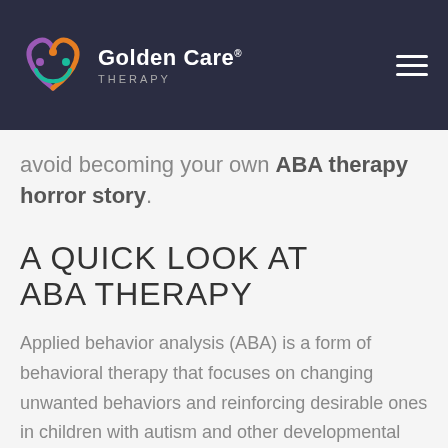[Figure (logo): Golden Care Therapy logo with heart icon and navigation hamburger menu on dark navy background]
avoid becoming your own ABA therapy horror story.
A QUICK LOOK AT ABA THERAPY
Applied behavior analysis (ABA) is a form of behavioral therapy that focuses on changing unwanted behaviors and reinforcing desirable ones in children with autism and other developmental disabilities.